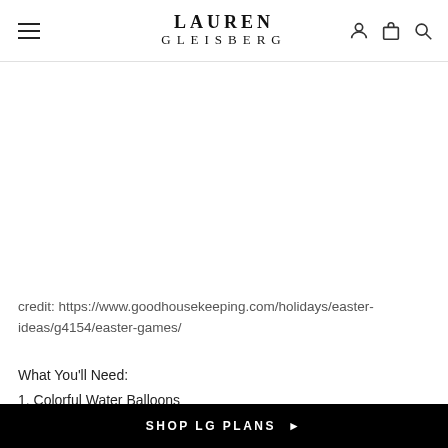LAUREN GLEISBERG
credit: https://www.goodhousekeeping.com/holidays/easter-ideas/g4154/easter-games/
What You'll Need:
1. Colorful Water Balloons
2. Water
Directions:
SHOP LG PLANS ▶